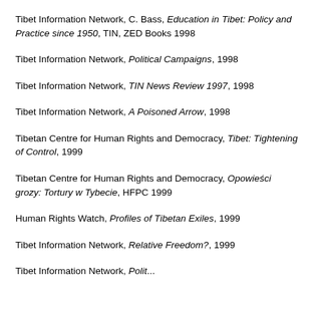Tibet Information Network, C. Bass, Education in Tibet: Policy and Practice since 1950, TIN, ZED Books 1998
Tibet Information Network, Political Campaigns, 1998
Tibet Information Network, TIN News Review 1997, 1998
Tibet Information Network, A Poisoned Arrow, 1998
Tibetan Centre for Human Rights and Democracy, Tibet: Tightening of Control, 1999
Tibetan Centre for Human Rights and Democracy, Opowieści grozy: Tortury w Tybecie, HFPC 1999
Human Rights Watch, Profiles of Tibetan Exiles, 1999
Tibet Information Network, Relative Freedom?, 1999
Tibet Information Network, Political...